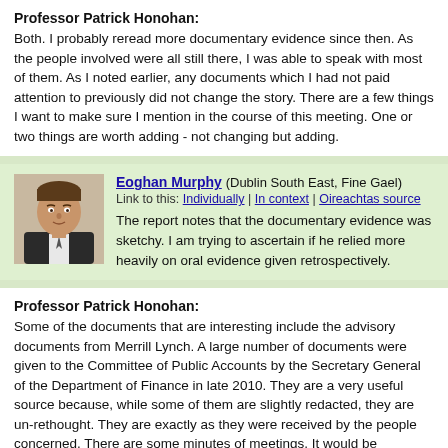Professor Patrick Honohan: Both. I probably reread more documentary evidence since then. As the people involved were all still there, I was able to speak with most of them. As I noted earlier, any documents which I had not paid attention to previously did not change the story. There are a few things I want to make sure I mention in the course of this meeting. One or two things are worth adding - not changing but adding.
Eoghan Murphy (Dublin South East, Fine Gael) Link to this: Individually | In context | Oireachtas source The report notes that the documentary evidence was sketchy. I am trying to ascertain if he relied more heavily on oral evidence given retrospectively.
Professor Patrick Honohan: Some of the documents that are interesting include the advisory documents from Merrill Lynch. A large number of documents were given to the Committee of Public Accounts by the Secretary General of the Department of Finance in late 2010. They are a very useful source because, while some of them are slightly redacted, they are un-rethought. They are exactly as they were received by the people concerned. There are some minutes of meetings. It would be wonderful if